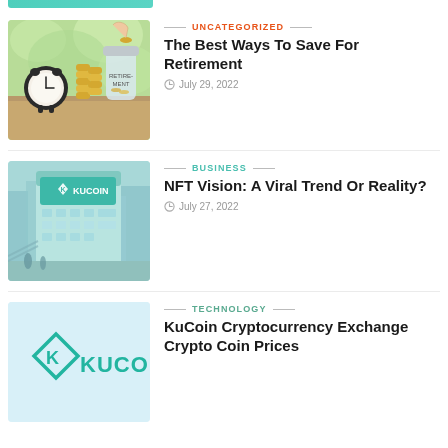[Figure (photo): Turquoise/teal banner strip at top]
[Figure (photo): Photo of alarm clock, stacked coins, and a jar labeled RETIREMENT on a green bokeh background]
UNCATEGORIZED
The Best Ways To Save For Retirement
July 29, 2022
[Figure (illustration): Illustrated scene of KuCoin building with teal/aqua color scheme, city street perspective]
BUSINESS
NFT Vision: A Viral Trend Or Reality?
July 27, 2022
[Figure (logo): KuCoin logo: diamond K icon with KUCOIN text in teal on light blue background]
TECHNOLOGY
KuCoin Cryptocurrency Exchange Crypto Coin Prices